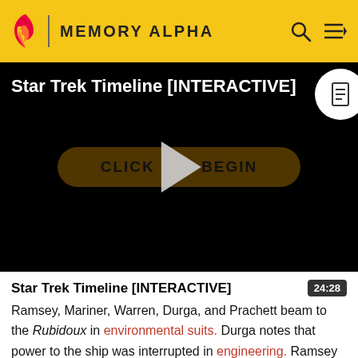MEMORY ALPHA
[Figure (screenshot): Memory Alpha wiki video thumbnail showing 'Star Trek Timeline [INTERACTIVE]' with a play button overlay and a 'CLICK TO BEGIN' button on black background]
Star Trek Timeline [INTERACTIVE]
Ramsey, Mariner, Warren, Durga, and Prachett beam to the Rubidoux in environmental suits. Durga notes that power to the ship was interrupted in engineering. Ramsey instructs Durga to restore power to the main systems.